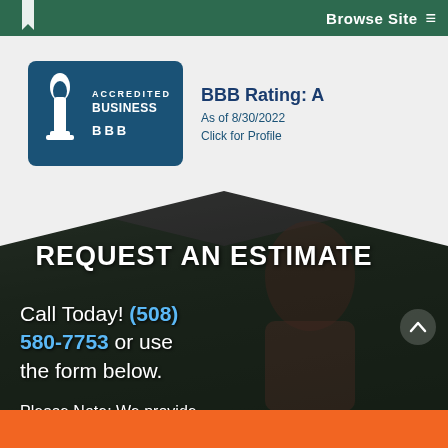Browse Site ≡
[Figure (logo): BBB Accredited Business badge with torch logo on dark blue background]
BBB Rating: A
As of 8/30/2022
Click for Profile
REQUEST AN ESTIMATE
Call Today! (508) 580-7753 or use the form below.
Please Note: We provide